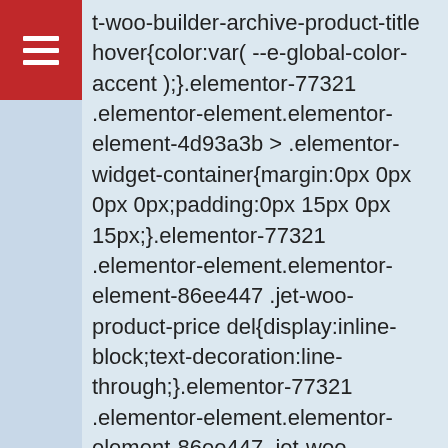[Figure (other): Red rectangle with hamburger menu icon (three white horizontal bars)]
t-woo-builder-archive-product-title hover{color:var( --e-global-color-accent );}.elementor-77321 .elementor-element.elementor-element-4d93a3b > .elementor-widget-container{margin:0px 0px 0px 0px;padding:0px 15px 0px 15px;}.elementor-77321 .elementor-element.elementor-element-86ee447 .jet-woo-product-price del{display:inline-block;text-decoration:line-through;}.elementor-77321 .elementor-element.elementor-element-86ee447 .jet-woo-product-price ins{display:inline-block;font-size:17px;font-weight:500;}.elementor-77321 .elementor-element.elementor-element-86ee447 .jet-woo-product-price del+ins{margin-left:0px;}.elementor-77321 .elementor-element.elementor-element-86ee447 .jet-woo-product-price{color:var( --e-global-color-accent